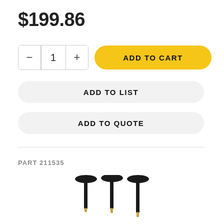$199.86
1
ADD TO CART
ADD TO LIST
ADD TO QUOTE
PART 211535
[Figure (photo): Three black T-bar antennas with gold connector tips arranged side by side]